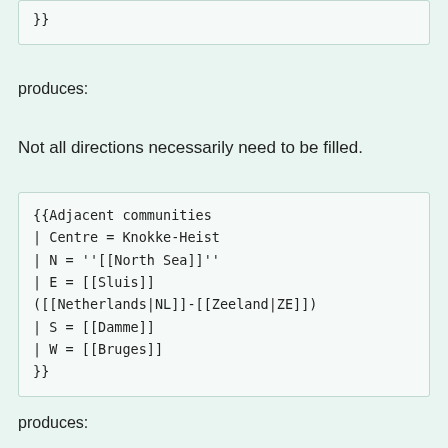}}
produces:
Not all directions necessarily need to be filled.
{{Adjacent communities
  | Centre = Knokke-Heist
  | N = ''[[North Sea]]''
  | E = [[Sluis]]
([[Netherlands|NL]]-[[Zeeland|ZE]])
  | S = [[Damme]]
  | W = [[Bruges]]
}}
produces: